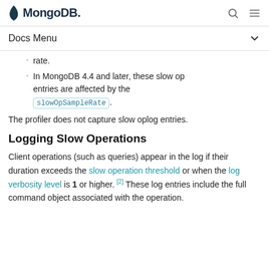MongoDB
Docs Menu
rate.
In MongoDB 4.4 and later, these slow op entries are affected by the slowOpSampleRate.
The profiler does not capture slow oplog entries.
Logging Slow Operations
Client operations (such as queries) appear in the log if their duration exceeds the slow operation threshold or when the log verbosity level is 1 or higher. [2] These log entries include the full command object associated with the operation.